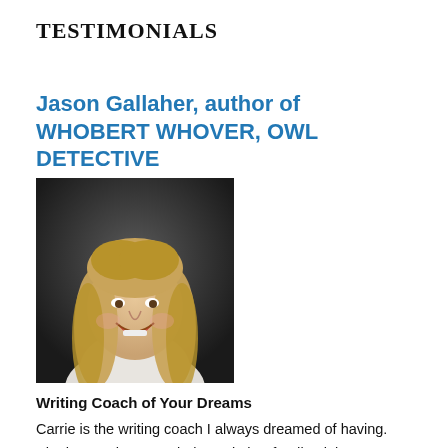TESTIMONIALS
Jason Gallaher, author of WHOBERT WHOVER, OWL DETECTIVE
[Figure (photo): Portrait photo of a smiling young man with long blonde hair wearing a white shirt, dark background]
Writing Coach of Your Dreams
Carrie is the writing coach I always dreamed of having. She has such a great balance in her feedback between singing your praises at what is working and giving you honest criticism at what still needs development. Carrie